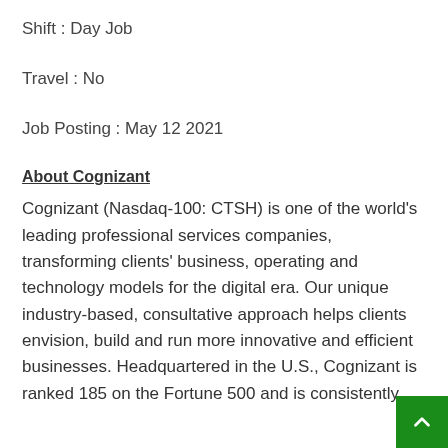Shift : Day Job
Travel : No
Job Posting : May 12 2021
About Cognizant
Cognizant (Nasdaq-100: CTSH) is one of the world’s leading professional services companies, transforming clients’ business, operating and technology models for the digital era. Our unique industry-based, consultative approach helps clients envision, build and run more innovative and efficient businesses. Headquartered in the U.S., Cognizant is ranked 185 on the Fortune 500 and is consistently